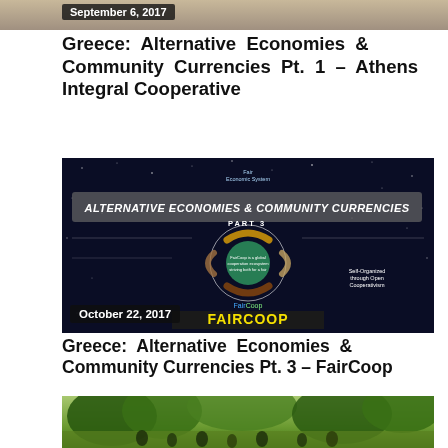[Figure (photo): Top portion of archaeological site photo with date badge showing September 6, 2017]
Greece: Alternative Economies & Community Currencies Pt. 1 – Athens Integral Cooperative
[Figure (photo): Alternative Economies & Community Currencies Part 3 FairCoop infographic on dark starry background with date badge October 22, 2017]
Greece: Alternative Economies & Community Currencies Pt. 3 – FairCoop
[Figure (photo): Outdoor gathering photo with trees and people, partially visible at bottom of page]